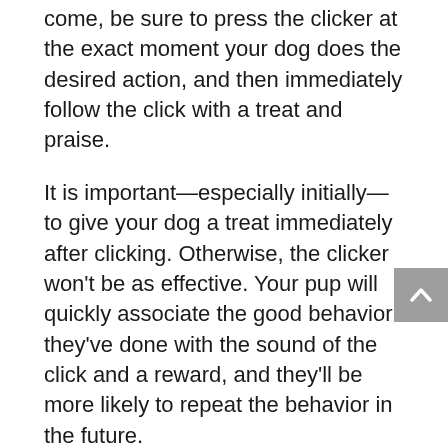come, be sure to press the clicker at the exact moment your dog does the desired action, and then immediately follow the click with a treat and praise.
It is important—especially initially—to give your dog a treat immediately after clicking. Otherwise, the clicker won't be as effective. Your pup will quickly associate the good behavior they've done with the sound of the click and a reward, and they'll be more likely to repeat the behavior in the future.
Questions about training or behavior?